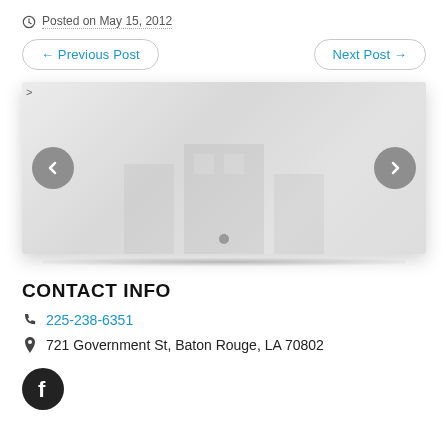Posted on May 15, 2012
← Previous Post
Next Post →
[Figure (other): Image slideshow/carousel with left and right navigation arrows and a dot indicator at the bottom. Background is light gray with faint content visible.]
CONTACT INFO
225-238-6351
721 Government St, Baton Rouge, LA 70802
[Figure (logo): Facebook icon — dark circular button with white 'f' letter]